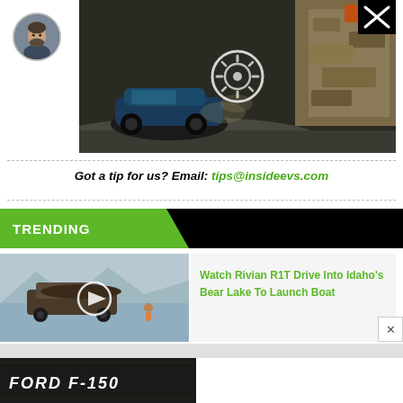[Figure (screenshot): Avatar/profile photo of a bearded man, circular crop]
[Figure (screenshot): Video thumbnail showing a blue sports car near a rocky wall on a road, with play button and X close button]
Got a tip for us? Email: tips@insideevs.com
TRENDING
[Figure (screenshot): Video thumbnail showing a Rivian R1T truck launching a boat at Bear Lake Idaho, with play button]
Watch Rivian R1T Drive Into Idaho's Bear Lake To Launch Boat
[Figure (screenshot): Ford F-150 thumbnail card at bottom]